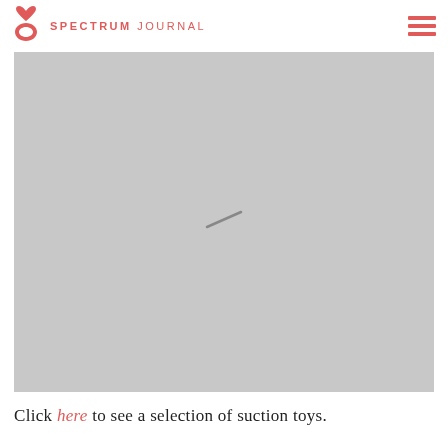SPECTRUM JOURNAL
[Figure (photo): Large gray placeholder image area with a faint diagonal line/object in the center, suggesting a minimally visible image or loading state.]
Click here to see a selection of suction toys.